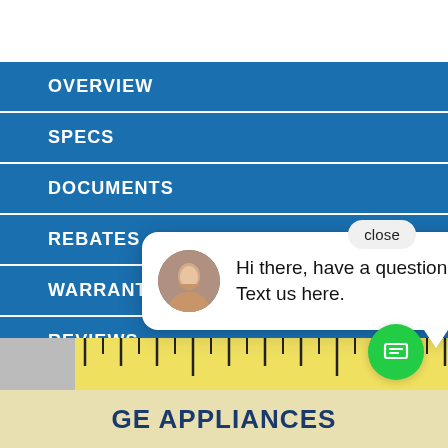OVERVIEW
SPECS
DOCUMENTS
REBATES
WARRANTY
REVIEWS
close
Hi there, have a question? Text us here.
[Figure (screenshot): GE Appliances ruler measurement image at the bottom of the page]